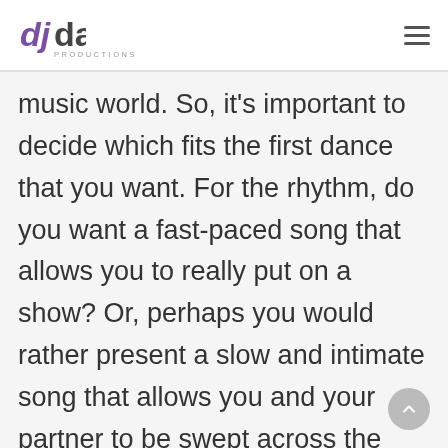dj dave PRODUCTIONS
music world. So, it’s important to decide which fits the first dance that you want. For the rhythm, do you want a fast-paced song that allows you to really put on a show? Or, perhaps you would rather present a slow and intimate song that allows you and your partner to be swept across the dance floor as you hold each other tight. Once you have decided on your rhythm, you can start thinking about the